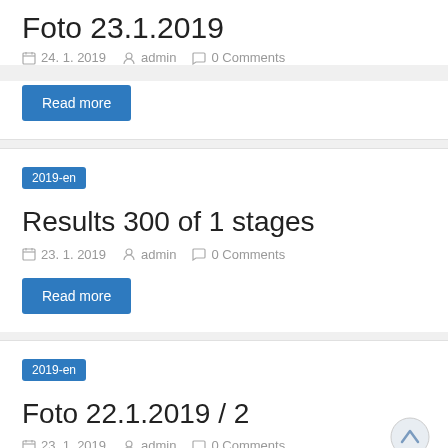Foto 23.1.2019
24. 1. 2019  admin  0 Comments
Read more
2019-en
Results 300 of 1 stages
23. 1. 2019  admin  0 Comments
Read more
2019-en
Foto 22.1.2019 / 2
23. 1. 2019  admin  0 Comments